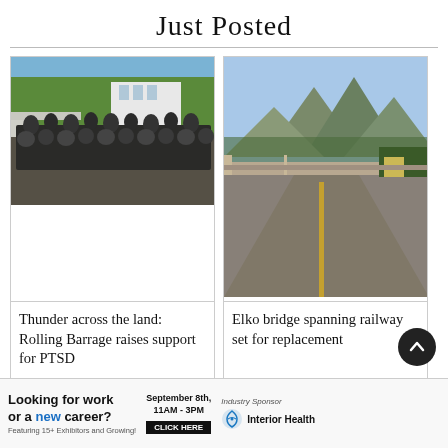Just Posted
[Figure (photo): Group photo of motorcyclists gathered on a bridge with a white building and trees in background]
Thunder across the land: Rolling Barrage raises support for PTSD
[Figure (photo): Road view from street level showing a bridge over a railway, with mountains and green hills in background, Elko area]
Elko bridge spanning railway set for replacement
[Figure (photo): Outdoor event or pavilion with a Rotary-style structure, crowd visible underneath, brick pillars]
[Figure (photo): Mountain landscape with tall pine trees and rocky peaks with blue sky]
Looking for work or a new career? Featuring 15+ Exhibitors and Growing! September 8th, 11AM - 3PM CLICK HERE Industry Sponsor Interior Health